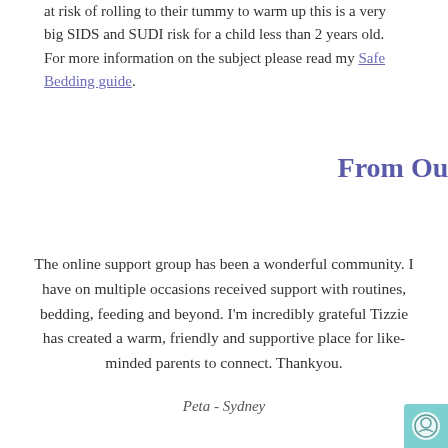at risk of rolling to their tummy to warm up this is a very big SIDS and SUDI risk for a child less than 2 years old. For more information on the subject please read my Safe Bedding guide.
From Our Parents
The online support group has been a wonderful community. I have on multiple occasions received support with routines, bedding, feeding and beyond. I'm incredibly grateful Tizzie has created a warm, friendly and supportive place for like-minded parents to connect. Thankyou.
Peta - Sydney